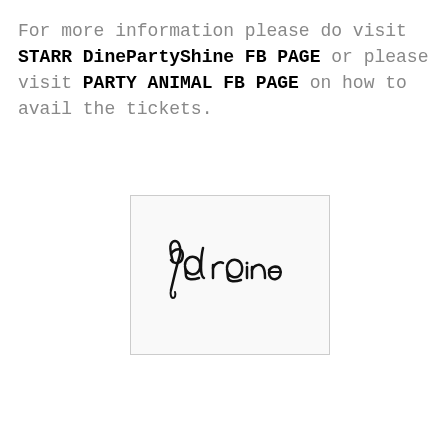For more information please do visit STARR DinePartyShine FB PAGE or please visit PARTY ANIMAL FB PAGE on how to avail the tickets.
[Figure (illustration): A handwritten cursive signature reading 'pal raine' in black ink on a light background, inside a rectangular border.]